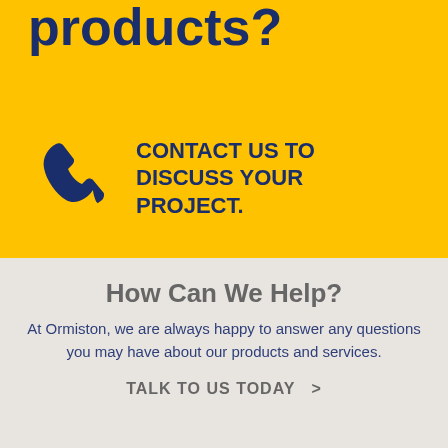products?
CONTACT US TO DISCUSS YOUR PROJECT.
How Can We Help?
At Ormiston, we are always happy to answer any questions you may have about our products and services.
TALK TO US TODAY  >